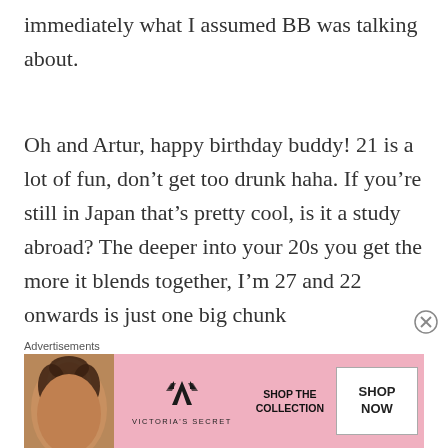immediately what I assumed BB was talking about.
Oh and Artur, happy birthday buddy! 21 is a lot of fun, don’t get too drunk haha. If you’re still in Japan that’s pretty cool, is it a study abroad? The deeper into your 20s you get the more it blends together, I’m 27 and 22 onwards is just one big chunk
Advertisements
[Figure (other): Victoria's Secret advertisement banner with a model photo on the left, Victoria's Secret logo and name in the center, and a white 'SHOP NOW' button on the right with 'SHOP THE COLLECTION' text.]